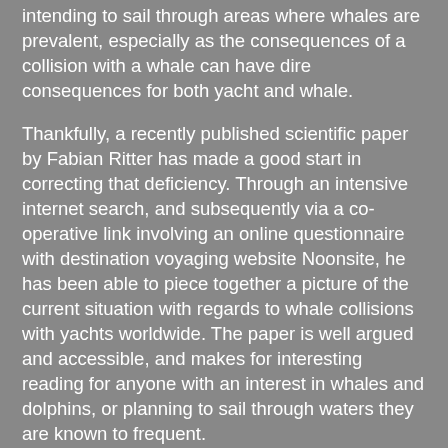intending to sail through areas where whales are prevalent, especially as the consequences of a collision with a whale can have dire consequences for both yacht and whale.
Thankfully, a recently published scientific paper by Fabian Ritter has made a good start in correcting that deficiency. Through an intensive internet search, and subsequently via a co-operative link involving an online questionnaire with destination voyaging website Noonsite, he has been able to piece together a picture of the current situation with regards to whale collisions with yachts worldwide. The paper is well argued and accessible, and makes for interesting reading for anyone with an interest in whales and dolphins, or planning to sail through waters they are known to frequent.
What Is The Scale Of The Problem?
The numbers are sobering, with a total of 111 collisions and 57 near misses recorded between 1996 – 2010, with 75% of all incidents between 2002 – 2010 suggesting an increasing trend. The North Atlantic topped the regional list for incidents with 41.8%, followed by the South Pacific with 16.4%. There